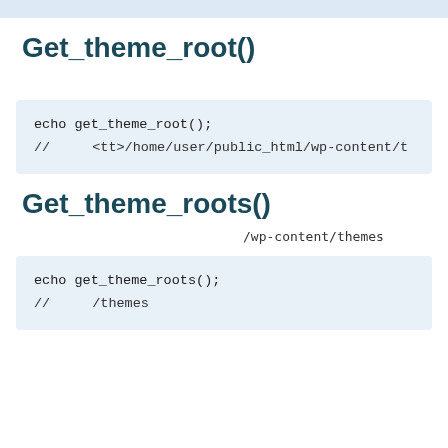Get_theme_root()
echo get_theme_root();
//　　　<tt>/home/user/public_html/wp-content/t
Get_theme_roots()
/wp-content/themes
echo get_theme_roots();
//　　　/themes